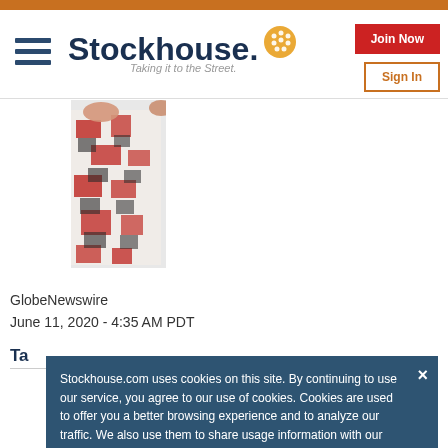Stockhouse - Taking it to the Street.
[Figure (photo): Fashion photo showing a person wearing a red, black and white patterned dress/outfit]
GlobeNewswire
June 11, 2020 - 4:35 AM PDT
Ta...
Stockhouse.com uses cookies on this site. By continuing to use our service, you agree to our use of cookies. Cookies are used to offer you a better browsing experience and to analyze our traffic. We also use them to share usage information with our partners. See full details.